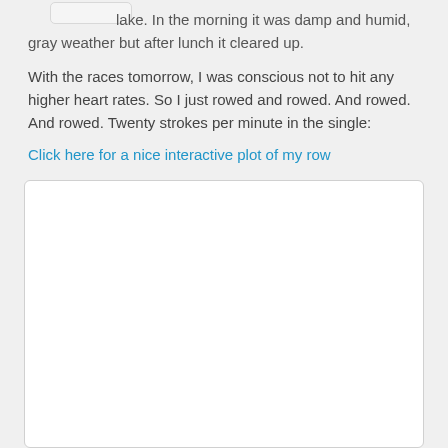lake. In the morning it was damp and humid, gray weather but after lunch it cleared up.
With the races tomorrow, I was conscious not to hit any higher heart rates. So I just rowed and rowed. And rowed. And rowed. Twenty strokes per minute in the single:
Click here for a nice interactive plot of my row
[Figure (other): Empty white box placeholder for an interactive plot]